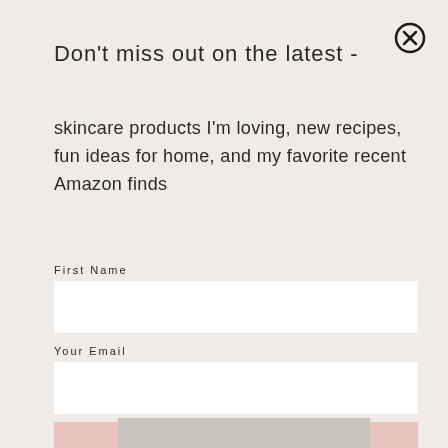[Figure (other): Close button (X in circle) at top right of modal]
Don't miss out on the latest -
skincare products I'm loving, new recipes, fun ideas for home, and my favorite recent Amazon finds
First Name
Your Email
Subscribe
[Figure (photo): Partial photo visible at bottom of page]